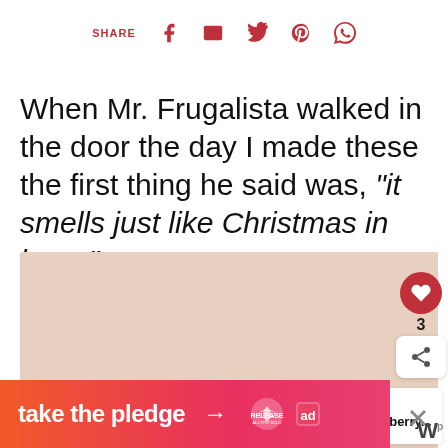SHARE
When Mr. Frugalista walked in the door the day I made these the first thing he said was, "it smells just like Christmas in here."
[Figure (photo): Food/recipe photo placeholder with warm brown tones]
[Figure (infographic): What's Next panel: Easy Mini Cranberry...]
[Figure (infographic): Take the pledge advertisement banner in orange-red gradient]